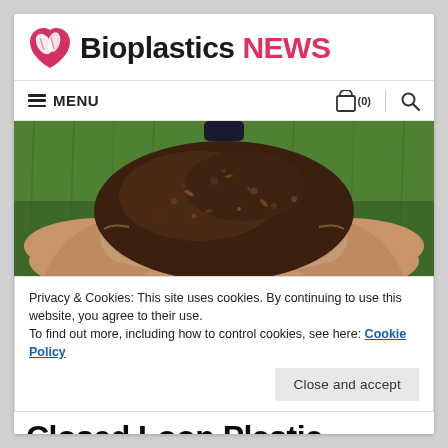Bioplastics NEWS
MENU
[Figure (photo): Hands cupping a mound of dark compost/soil against a green grass background]
Privacy & Cookies: This site uses cookies. By continuing to use this website, you agree to their use.
To find out more, including how to control cookies, see here: Cookie Policy
Close and accept
Closed Loop Plastic Composting